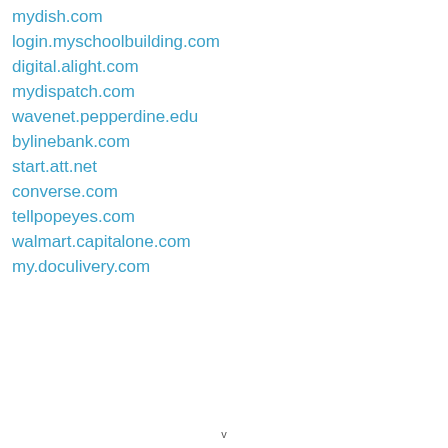mydish.com
login.myschoolbuilding.com
digital.alight.com
mydispatch.com
wavenet.pepperdine.edu
bylinebank.com
start.att.net
converse.com
tellpopeyes.com
walmart.capitalone.com
my.doculivery.com
v